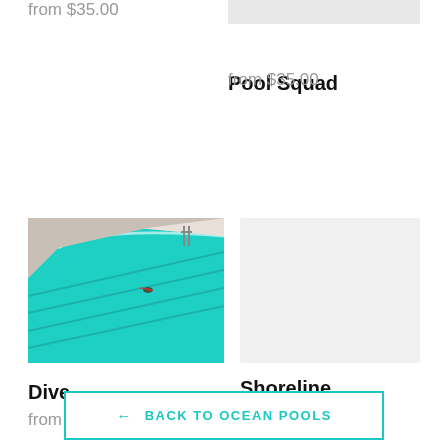from $35.00
[Figure (photo): Partial gray placeholder image for Pool Squad product]
Pool Squad
from $35.00
[Figure (photo): Aerial view of a turquoise swimming pool with lanes and a swimmer, white concrete surroundings]
Dive
from $35.00
[Figure (photo): Gray placeholder image for Shoreline product]
Shoreline
from $35.00
← BACK TO OCEAN POOLS